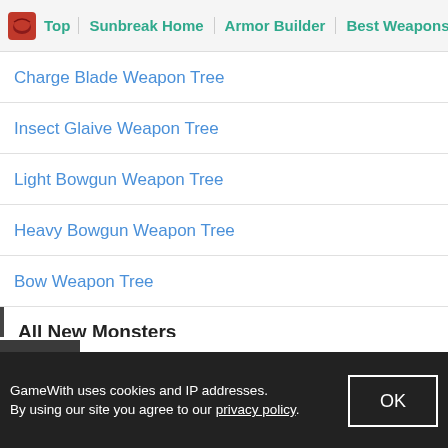Top | Sunbreak Home | Armor Builder | Best Weapons
Charge Blade Weapon Tree
Insect Glaive Weapon Tree
Light Bowgun Weapon Tree
Heavy Bowgun Weapon Tree
Bow Weapon Tree
All New Monsters
All Sunbreak Monsters
Espinas
[Figure (screenshot): Video/media overlay thumbnail showing a person's face, partially visible]
GameWith uses cookies and IP addresses. By using our site you agree to our privacy policy.